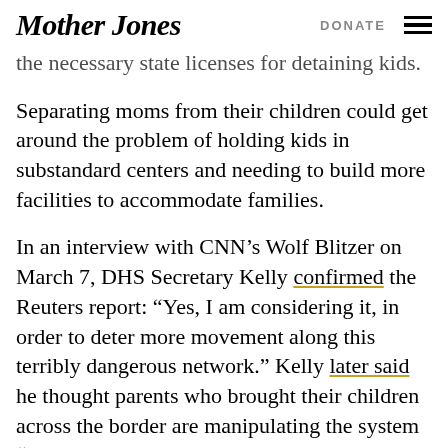Mother Jones | DONATE
the necessary state licenses for detaining kids. Separating moms from their children could get around the problem of holding kids in substandard centers and needing to build more facilities to accommodate families.
In an interview with CNN’s Wolf Blitzer on March 7, DHS Secretary Kelly confirmed the Reuters report: “Yes, I am considering it, in order to deter more movement along this terribly dangerous network.” Kelly later said he thought parents who brought their children across the border are manipulating the system “because they know up till this point we will keep the families together.” “As this word gets out that we’re considering it and maybe we’ll